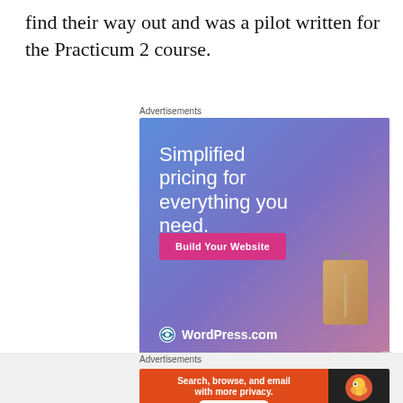find their way out and was a pilot written for the Practicum 2 course.
Advertisements
[Figure (illustration): WordPress.com advertisement with gradient blue-purple background, large white text 'Simplified pricing for everything you need.', a pink 'Build Your Website' button, a price tag graphic, and WordPress.com logo at bottom left.]
Advertisements
[Figure (illustration): DuckDuckGo advertisement with orange background on left saying 'Search, browse, and email with more privacy. All in One Free App' and dark background on right with DuckDuckGo duck logo.]